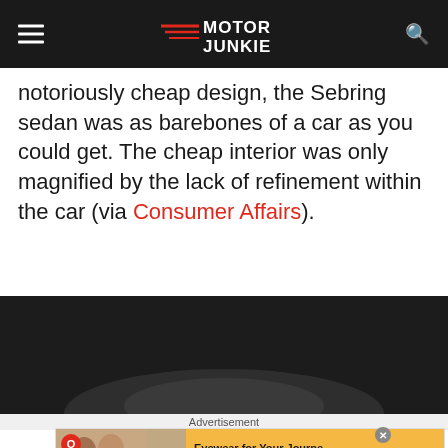Motor Junkie
notoriously cheap design, the Sebring sedan was as barebones of a car as you could get. The cheap interior was only magnified by the lack of refinement within the car (via Consumer Affairs).
[Figure (photo): Dark background photo showing partial view of a car, likely the Sebring sedan interior or exterior detail]
Advertisement
[Figure (other): Advertisement banner: Eyewear for Your Journey - Timeless Styles, Unmatched Quality - Shop Now button]